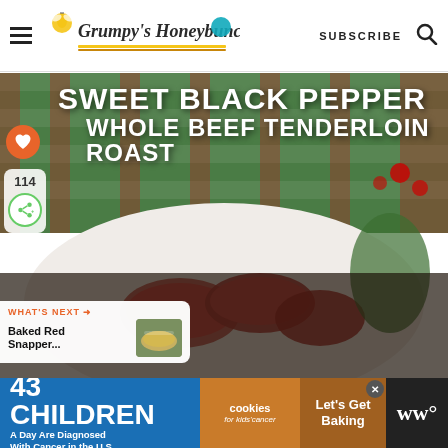Grumpy's Honeybunch | SUBSCRIBE
[Figure (photo): Food blog recipe page showing Sweet Black Pepper Whole Beef Tenderloin Roast. Background shows a green plaid tablecloth with sliced beef tenderloin on a white plate. Overlay text reads 'SWEET BLACK PEPPER WHOLE BEEF TENDERLOIN ROAST'. Social sidebar shows 114 saves, heart icon in orange circle, and share button. 'What's Next' panel shows Baked Red Snapper.]
[Figure (infographic): Advertisement banner: '43 CHILDREN A Day Are Diagnosed With Cancer in the U.S.' with cookies for kids' cancer logo and 'Let's Get Baking' text on right side. Blue and brown background.]